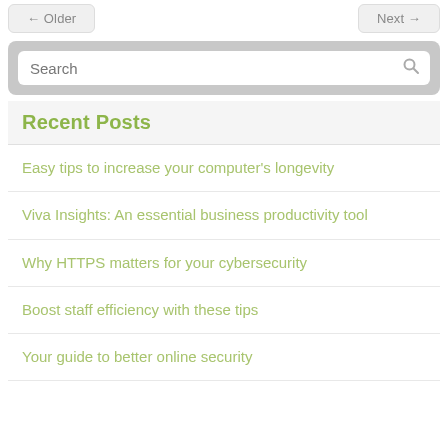← Older
Next →
Search
Recent Posts
Easy tips to increase your computer's longevity
Viva Insights: An essential business productivity tool
Why HTTPS matters for your cybersecurity
Boost staff efficiency with these tips
Your guide to better online security